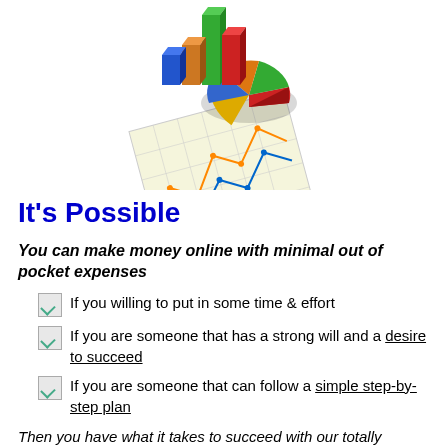[Figure (illustration): 3D colorful bar charts and pie chart with line graphs on paper, representing financial data visualization]
It's Possible
You can make money online with minimal out of pocket expenses
If you willing to put in some time & effort
If you are someone that has a strong will and a desire to succeed
If you are someone that can follow a simple step-by-step plan
Then you have what it takes to succeed with our totally